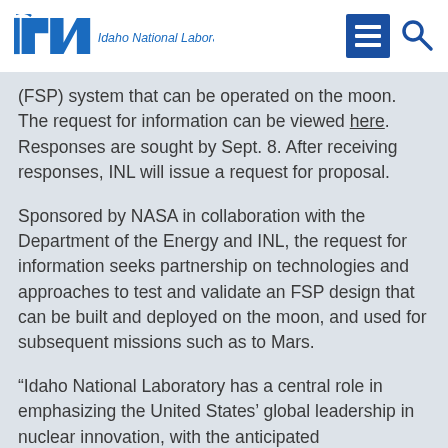INL Idaho National Laboratory
(FSP) system that can be operated on the moon. The request for information can be viewed here. Responses are sought by Sept. 8. After receiving responses, INL will issue a request for proposal.
Sponsored by NASA in collaboration with the Department of the Energy and INL, the request for information seeks partnership on technologies and approaches to test and validate an FSP design that can be built and deployed on the moon, and used for subsequent missions such as to Mars.
“Idaho National Laboratory has a central role in emphasizing the United States’ global leadership in nuclear innovation, with the anticipated demonstration of advanced reactors on the INL Site."